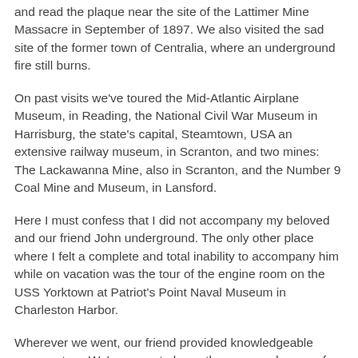and read the plaque near the site of the Lattimer Mine Massacre in September of 1897. We also visited the sad site of the former town of Centralia, where an underground fire still burns.
On past visits we've toured the Mid-Atlantic Airplane Museum, in Reading, the National Civil War Museum in Harrisburg, the state's capital, Steamtown, USA an extensive railway museum, in Scranton, and two mines: The Lackawanna Mine, also in Scranton, and the Number 9 Coal Mine and Museum, in Lansford.
Here I must confess that I did not accompany my beloved and our friend John underground. The only other place where I felt a complete and total inability to accompany him while on vacation was the tour of the engine room on the USS Yorktown at Patriot's Point Naval Museum in Charleston Harbor.
Wherever we went, our friend provided knowledgeable commentary. We've come to know the area, and some of the people there quite well. We could see definite signs of